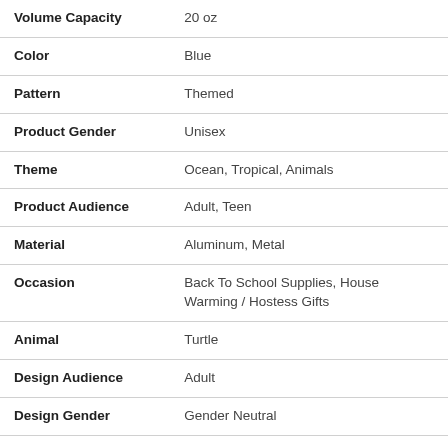| Attribute | Value |
| --- | --- |
| Volume Capacity | 20 oz |
| Color | Blue |
| Pattern | Themed |
| Product Gender | Unisex |
| Theme | Ocean, Tropical, Animals |
| Product Audience | Adult, Teen |
| Material | Aluminum, Metal |
| Occasion | Back To School Supplies, House Warming / Hostess Gifts |
| Animal | Turtle |
| Design Audience | Adult |
| Design Gender | Gender Neutral |